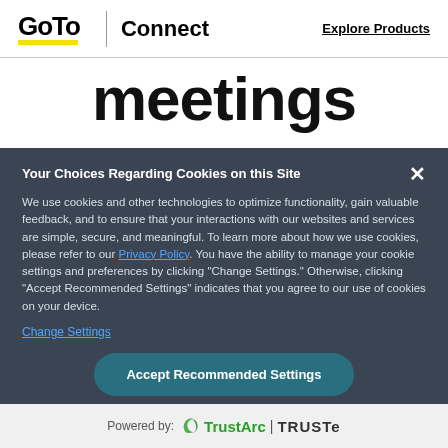GoTo | Connect   Explore Products
meetings
We use cookies and other technologies to optimize functionality, gain valuable feedback, and to ensure that your interactions with our websites and services are simple, secure, and meaningful. To learn more about how we use cookies, please refer to our Privacy Policy. You have the ability to manage your cookie settings and preferences by clicking "Change Settings." Otherwise, clicking "Accept Recommended Settings" indicates that you agree to our use of cookies on your device.
Change Settings
Accept Recommended Settings
Powered by: TrustArc | TRUSTe